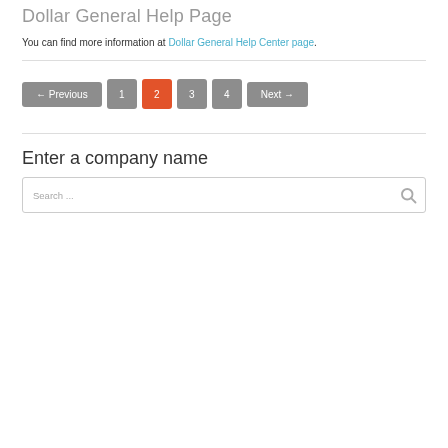Dollar General Help Page
You can find more information at Dollar General Help Center page.
← Previous  1  2  3  4  Next →
Enter a company name
Search ...